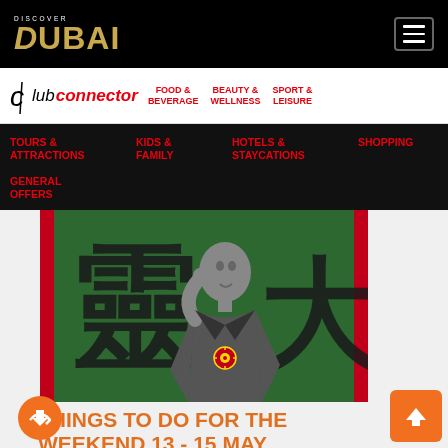DISCOVER DUBAI
club connector | FOOD & BEVERAGE | BEAUTY & WELLNESS | SPORT & LEISURE
TOURS & ATTRACTIONS | KIDS & FAMILY | HOTELS & STAYCATIONS | SHOPPING | GENERAL OFFERS
[Figure (photo): Black and white photo of a man in a suit with a red decorative pin on a green background with large black Chinese characters, red border on sides]
THINGS TO DO FOR THE WEEKEND 13 - 15 MAY
THIS MONTH
Get ready for an exciting and eventful weekend!